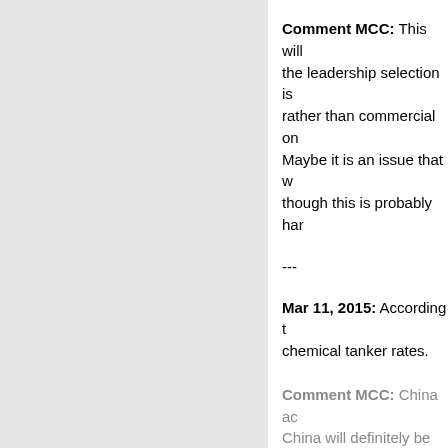Comment MCC: This will the leadership selection is rather than commercial on Maybe it is an issue that w though this is probably har
---
Mar 11, 2015: According to chemical tanker rates.
Comment MCC: China ac China will definitely be felt which is occurring at the sa
---
Mar 10, 2015: China has n 1st 2015, listing substance
Comment MCC: This is a